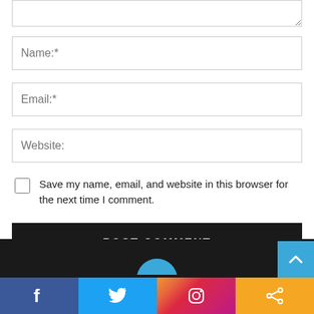[Figure (screenshot): Comment form with Name, Email, Website input fields, a checkbox for saving info, and a POST COMMENT button. Dark footer with social media icons (Facebook, Twitter, Instagram, Share) at the bottom.]